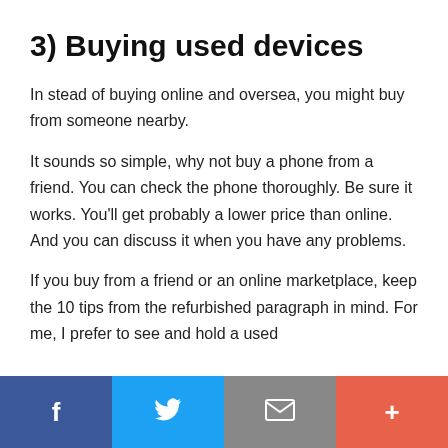3) Buying used devices
In stead of buying online and oversea, you might buy from someone nearby.
It sounds so simple, why not buy a phone from a friend. You can check the phone thoroughly. Be sure it works. You'll get probably a lower price than online. And you can discuss it when you have any problems.
If you buy from a friend or an online marketplace, keep the 10 tips from the refurbished paragraph in mind. For me, I prefer to see and hold a used